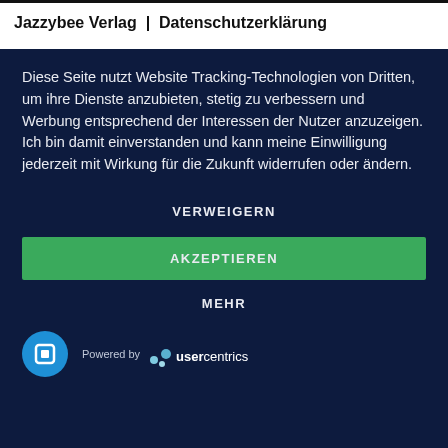Jazzybee Verlag  |  Datenschutzerklärung
[Figure (photo): Colorful book spines on a dark shelf, visible as a horizontal strip]
Diese Seite nutzt Website Tracking-Technologien von Dritten, um ihre Dienste anzubieten, stetig zu verbessern und Werbung entsprechend der Interessen der Nutzer anzuzeigen. Ich bin damit einverstanden und kann meine Einwilligung jederzeit mit Wirkung für die Zukunft widerrufen oder ändern.
VERWEIGERN
AKZEPTIEREN
MEHR
[Figure (logo): Usercentrics logo with blue circular icon and 'Powered by usercentrics' text]